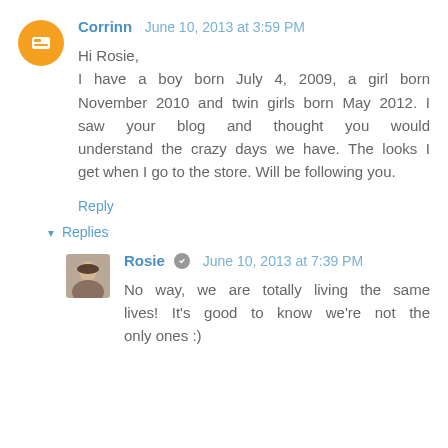Corrinn  June 10, 2013 at 3:59 PM
Hi Rosie,
I have a boy born July 4, 2009, a girl born November 2010 and twin girls born May 2012. I saw your blog and thought you would understand the crazy days we have. The looks I get when I go to the store. Will be following you.
Reply
▾  Replies
Rosie  June 10, 2013 at 7:39 PM
No way, we are totally living the same lives! It's good to know we're not the only ones :)